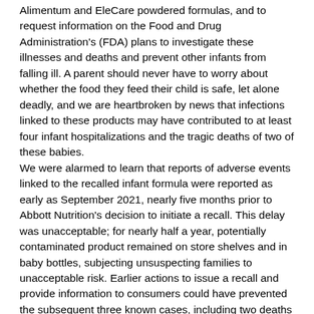Alimentum and EleCare powdered formulas, and to request information on the Food and Drug Administration's (FDA) plans to investigate these illnesses and deaths and prevent other infants from falling ill. A parent should never have to worry about whether the food they feed their child is safe, let alone deadly, and we are heartbroken by news that infections linked to these products may have contributed to at least four infant hospitalizations and the tragic deaths of two of these babies.
We were alarmed to learn that reports of adverse events linked to the recalled infant formula were reported as early as September 2021, nearly five months prior to Abbott Nutrition's decision to initiate a recall. This delay was unacceptable; for nearly half a year, potentially contaminated product remained on store shelves and in baby bottles, subjecting unsuspecting families to unacceptable risk. Earlier actions to issue a recall and provide information to consumers could have prevented the subsequent three known cases, including two deaths in Ohio, reported in connection with the recalled products or limited the quantity of recalled product and resulting shortages. The deaths of these two infants is tragic and unacceptable, and should never have happened.
In addition to our deep concerns over the health risks to infants that the potential contamination and delayed action have caused, we are alarmed by the challenges families now face in securing safe infant formula with which to feed children reliant on this important source of nutrition.
Reports over shortages at grocery stores and food pantries due to supply chain issues preceded the current recall, which has exacerbated the